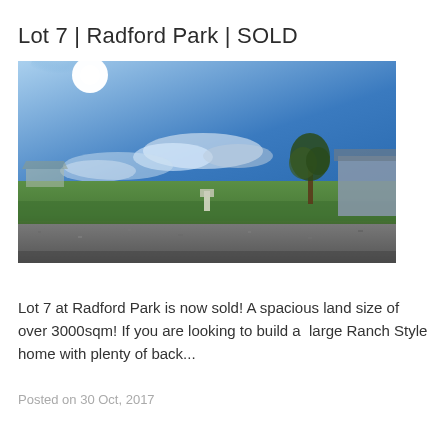Lot 7 | Radford Park | SOLD
[Figure (photo): Outdoor photo of a vacant land lot at Radford Park. Blue sky with bright sunlight in upper left, scattered clouds, green grass field, a single tree on the right side, a building partially visible at far right, and a gravel road at the bottom foreground.]
Lot 7 at Radford Park is now sold! A spacious land size of over 3000sqm! If you are looking to build a  large Ranch Style home with plenty of back...
Posted on 30 Oct, 2017